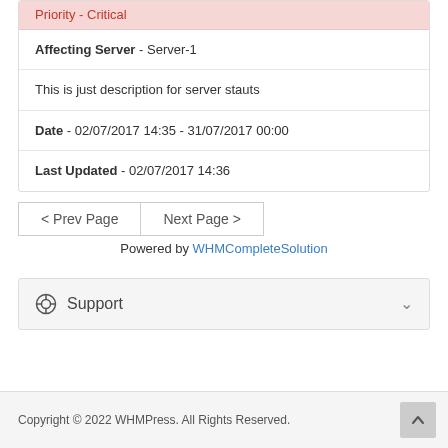Priority - Critical
Affecting Server - Server-1
This is just description for server stauts
Date - 02/07/2017 14:35 - 31/07/2017 00:00
Last Updated - 02/07/2017 14:36
< Prev Page    Next Page >
Powered by WHMCompleteSolution
Support
Copyright © 2022 WHMPress. All Rights Reserved.